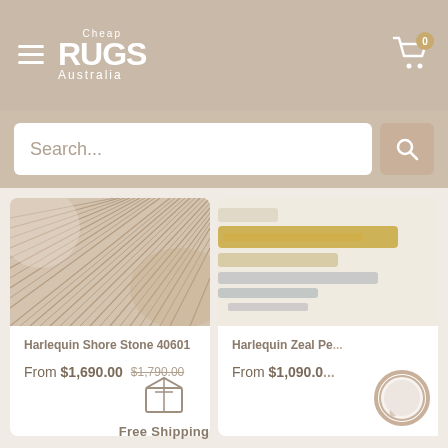[Figure (screenshot): Cheap Rugs Australia website header with logo, hamburger menu, cart icon with 0 badge, search bar, two product cards (Harlequin Shore Stone 40601 and Harlequin Zeal Pe...), and Free Shipping footer with box icon and chat bubble.]
Search...
Harlequin Shore Stone 40601
From $1,690.00  $1,790.00
Harlequin Zeal Pe...
From $1,090.0...
Free Shipping